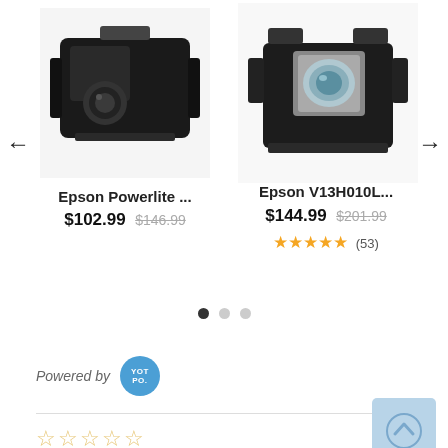[Figure (photo): Product photo of Epson Powerlite projector lamp, black housing]
Epson Powerlite ...
$102.99 $146.99
[Figure (photo): Product photo of Epson V13H010L projector lamp, black housing with silver lens]
Epson V13H010L...
$144.99 $201.99
★★★★★ (53)
Powered by YOTPO
☆☆☆☆☆